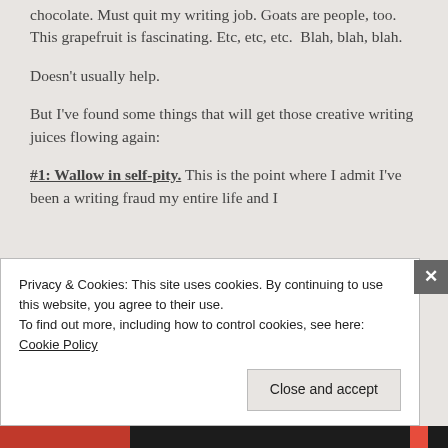chocolate. Must quit my writing job. Goats are people, too. This grapefruit is fascinating. Etc, etc, etc.  Blah, blah, blah.
Doesn't usually help.
But I've found some things that will get those creative writing juices flowing again:
#1: Wallow in self-pity. This is the point where I admit I've been a writing fraud my entire life and I
Privacy & Cookies: This site uses cookies. By continuing to use this website, you agree to their use.
To find out more, including how to control cookies, see here: Cookie Policy
Close and accept